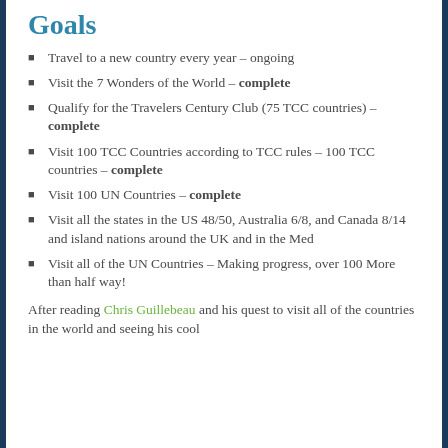Goals
Travel to a new country every year – ongoing
Visit the 7 Wonders of the World – complete
Qualify for the Travelers Century Club (75 TCC countries) – complete
Visit 100 TCC Countries according to TCC rules – 100 TCC countries – complete
Visit 100 UN Countries – complete
Visit all the states in the US 48/50, Australia 6/8, and Canada 8/14 and island nations around the UK and in the Med
Visit all of the UN Countries – Making progress, over 100 More than half way!
After reading Chris Guillebeau and his quest to visit all of the countries in the world and seeing his cool